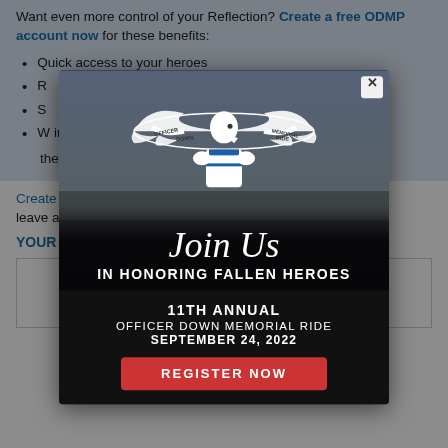Want even more control of your Reflection? Create a free ODMP account now for these benefits:
Quick access to your heroes
R[emember...]
S[...]
W[...] in the p[...]
Create [...] n to leave a [...]
YOUR [...]
[Figure (infographic): Modal popup overlay for the 11th Annual Officer Down Memorial Ride. Shows motorcycles with American flag in background. Contains ODMP eagle logo with text 'Officer Down Memorial Ride'. Script text reads 'Join Us IN HONORING FALLEN HEROES'. Black banner at bottom states '11TH ANNUAL OFFICER DOWN MEMORIAL RIDE SEPTEMBER 24, 2022' with a red REGISTER NOW button. Modal has an X close button in top right.]